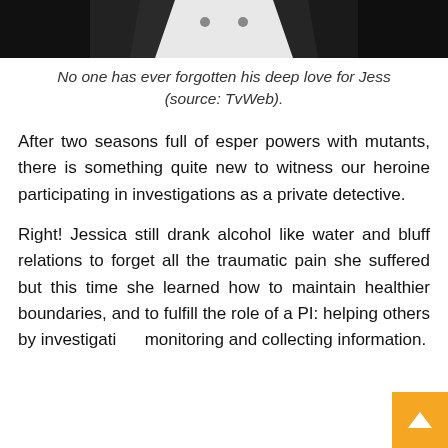[Figure (photo): Partial photo of a person in a dark jacket, cropped to show lower face/chest area against a white shirt, dark background.]
No one has ever forgotten his deep love for Jess (source: TvWeb).
After two seasons full of esper powers with mutants, there is something quite new to witness our heroine participating in investigations as a private detective.
Right! Jessica still drank alcohol like water and bluff relations to forget all the traumatic pain she suffered but this time she learned how to maintain healthier boundaries, and to fulfill the role of a PI: helping others by investigating, monitoring and collecting information.